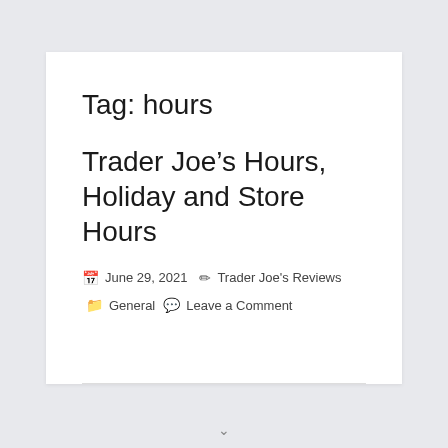Tag: hours
Trader Joe’s Hours, Holiday and Store Hours
June 29, 2021  Trader Joe's Reviews  General  Leave a Comment